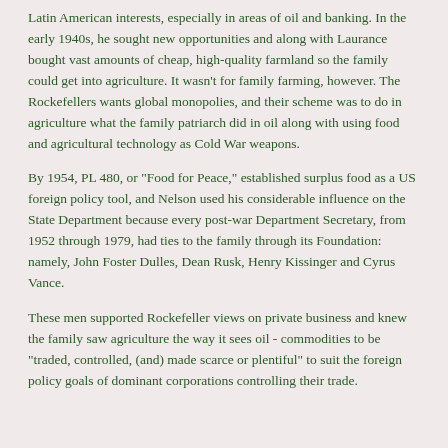Latin American interests, especially in areas of oil and banking. In the early 1940s, he sought new opportunities and along with Laurance bought vast amounts of cheap, high-quality farmland so the family could get into agriculture. It wasn't for family farming, however. The Rockefellers wants global monopolies, and their scheme was to do in agriculture what the family patriarch did in oil along with using food and agricultural technology as Cold War weapons.
By 1954, PL 480, or "Food for Peace," established surplus food as a US foreign policy tool, and Nelson used his considerable influence on the State Department because every post-war Department Secretary, from 1952 through 1979, had ties to the family through its Foundation: namely, John Foster Dulles, Dean Rusk, Henry Kissinger and Cyrus Vance.
These men supported Rockefeller views on private business and knew the family saw agriculture the way it sees oil - commodities to be "traded, controlled, (and) made scarce or plentiful" to suit the foreign policy goals of dominant corporations controlling their trade.